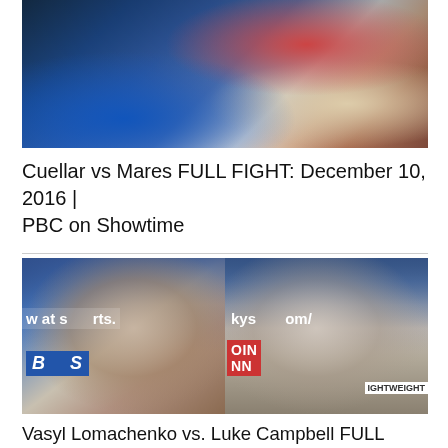[Figure (photo): Boxing match photo showing one fighter standing and another knocked down on the canvas, blue ring mat, arena crowd in background]
Cuellar vs Mares FULL FIGHT: December 10, 2016 | PBC on Showtime
[Figure (photo): Press conference photo showing two boxers: Vasyl Lomachenko on the left and Luke Campbell on the right, sitting at microphones with sports banners behind them]
Vasyl Lomachenko vs. Luke Campbell FULL FINAL